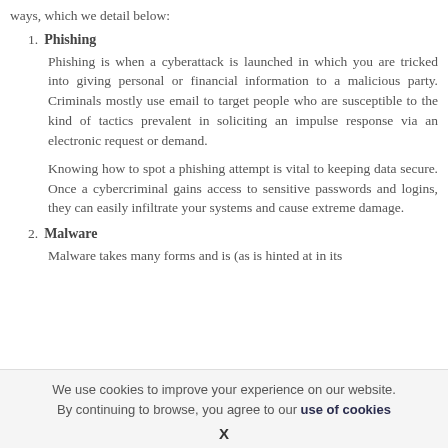ways, which we detail below:
1. Phishing
Phishing is when a cyberattack is launched in which you are tricked into giving personal or financial information to a malicious party. Criminals mostly use email to target people who are susceptible to the kind of tactics prevalent in soliciting an impulse response via an electronic request or demand.
Knowing how to spot a phishing attempt is vital to keeping data secure. Once a cybercriminal gains access to sensitive passwords and logins, they can easily infiltrate your systems and cause extreme damage.
2. Malware
Malware takes many forms and is (as is hinted at in its
We use cookies to improve your experience on our website. By continuing to browse, you agree to our use of cookies
X